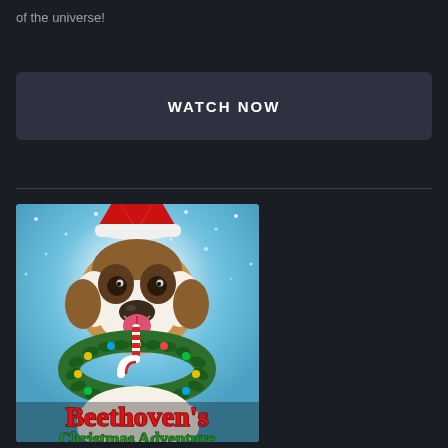of the universe!
WATCH NOW
[Figure (photo): Movie poster for Beethoven's Christmas Adventure featuring a St. Bernard dog wearing a Santa hat and a Christmas wreath with candy cane around its neck, on a blue snowy background]